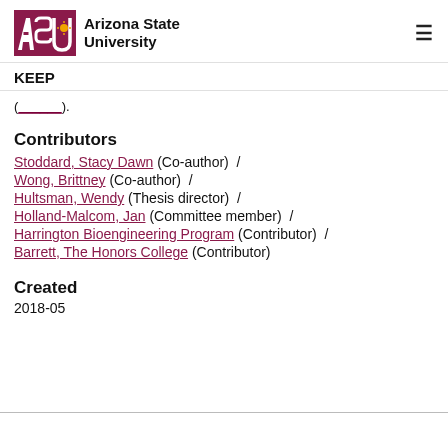Arizona State University — KEEP
(link).
Contributors
Stoddard, Stacy Dawn (Co-author) /
Wong, Brittney (Co-author) /
Hultsman, Wendy (Thesis director) /
Holland-Malcom, Jan (Committee member) /
Harrington Bioengineering Program (Contributor) /
Barrett, The Honors College (Contributor)
Created
2018-05